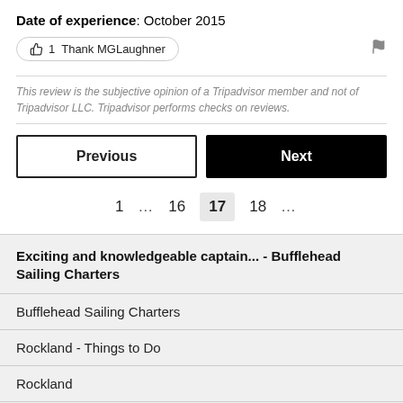Date of experience: October 2015
1 Thank MGLaughner
This review is the subjective opinion of a Tripadvisor member and not of Tripadvisor LLC. Tripadvisor performs checks on reviews.
Previous
Next
1 … 16 17 18 …
Exciting and knowledgeable captain... - Bufflehead Sailing Charters
Bufflehead Sailing Charters
Rockland - Things to Do
Rockland
Mid Coast Maine